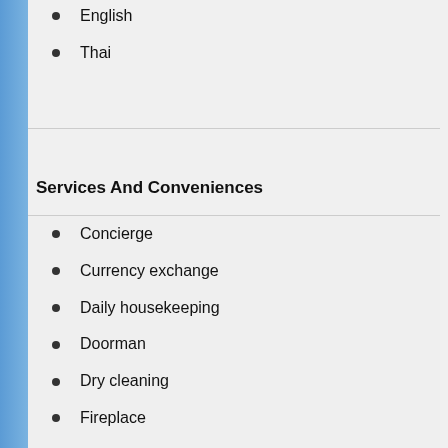English
Thai
Services And Conveniences
Concierge
Currency exchange
Daily housekeeping
Doorman
Dry cleaning
Fireplace
Gift / souvenir shop
Laundromat
Laundry service
Library
Luggage storage
Safety deposit boxes